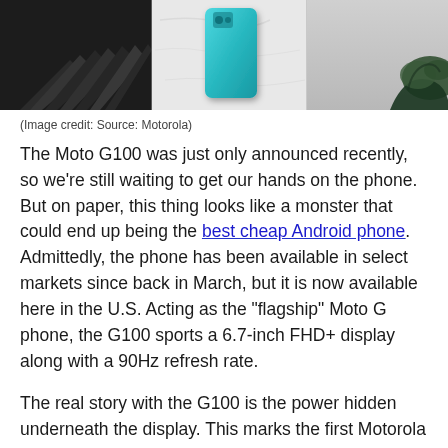[Figure (photo): A composite photo strip showing three panels: left panel with a dark fan/spiral object on black background, center panel with a teal/blue Motorola smartphone on marble surface, right panel with a small plant on a light surface.]
(Image credit: Source: Motorola)
The Moto G100 was just only announced recently, so we're still waiting to get our hands on the phone. But on paper, this thing looks like a monster that could end up being the best cheap Android phone. Admittedly, the phone has been available in select markets since back in March, but it is now available here in the U.S. Acting as the "flagship" Moto G phone, the G100 sports a 6.7-inch FHD+ display along with a 90Hz refresh rate.
The real story with the G100 is the power hidden underneath the display. This marks the first Motorola phone to be powered by the Snapdragon 870 processor, which falls between the Snapdragon 865 (predecessor) and the Snapdragon 888. Not only will